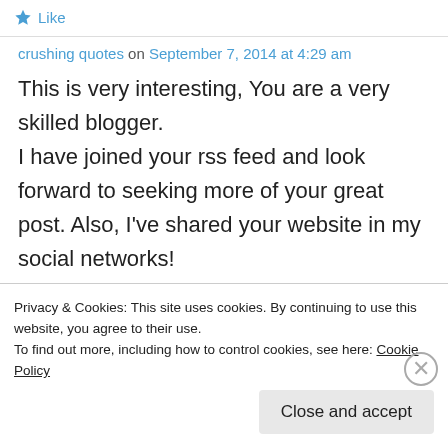Like
crushing quotes on September 7, 2014 at 4:29 am
This is very interesting, You are a very skilled blogger.
I have joined your rss feed and look forward to seeking more of your great post. Also, I've shared your website in my social networks!
Like
Privacy & Cookies: This site uses cookies. By continuing to use this website, you agree to their use.
To find out more, including how to control cookies, see here: Cookie Policy
Close and accept